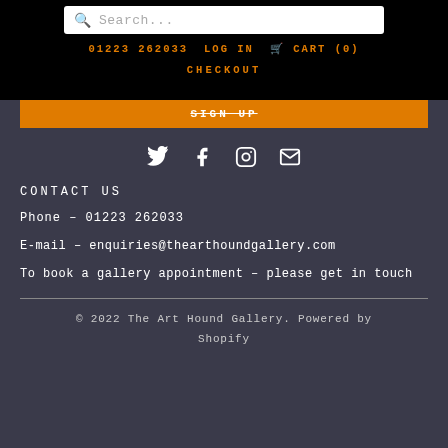Search... | 01223 262033 | LOG IN | CART (0) | CHECKOUT
SIGN UP
[Figure (infographic): Social media icons: Twitter, Facebook, Instagram, Email]
CONTACT US
Phone – 01223 262033
E-mail – enquiries@thearthoundgallery.com
To book a gallery appointment – please get in touch
© 2022 The Art Hound Gallery. Powered by Shopify